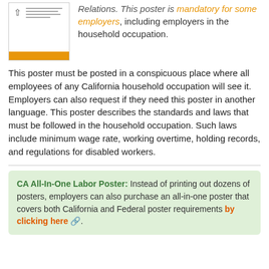[Figure (illustration): Thumbnail image of a poster document with an up-arrow icon on the left and small text lines, with an orange bar at the bottom.]
Relations. This poster is mandatory for some employers, including employers in the household occupation.
This poster must be posted in a conspicuous place where all employees of any California household occupation will see it. Employers can also request if they need this poster in another language. This poster describes the standards and laws that must be followed in the household occupation. Such laws include minimum wage rate, working overtime, holding records, and regulations for disabled workers.
CA All-In-One Labor Poster: Instead of printing out dozens of posters, employers can also purchase an all-in-one poster that covers both California and Federal poster requirements by clicking here.